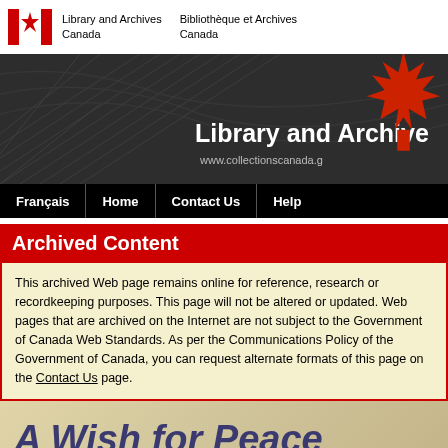Library and Archives Canada / Bibliothèque et Archives Canada
[Figure (screenshot): Library and Archives Canada website banner with dark background, decorative line patterns, red maple leaf, title 'Library and Archives' and URL www.collectionscanada.g]
[Figure (infographic): Navigation bar with links: Français, Home, Contact Us, Help]
Archived Content
This archived Web page remains online for reference, research or recordkeeping purposes. This page will not be altered or updated. Web pages that are archived on the Internet are not subject to the Government of Canada Web Standards. As per the Communications Policy of the Government of Canada, you can request alternate formats of this page on the Contact Us page.
[Figure (illustration): Bottom banner showing 'A Wish for Peace' title text in dark blue italic on a warm beige/tan background]